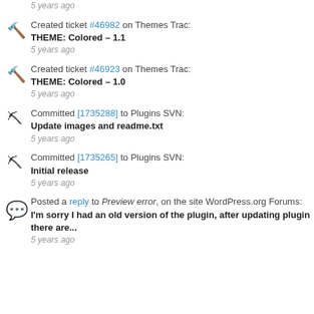5 years ago
Created ticket #46982 on Themes Trac: THEME: Colored – 1.1 — 5 years ago
Created ticket #46923 on Themes Trac: THEME: Colored – 1.0 — 5 years ago
Committed [1735288] to Plugins SVN: Update images and readme.txt — 5 years ago
Committed [1735265] to Plugins SVN: Initial release — 5 years ago
Posted a reply to Preview error, on the site WordPress.org Forums: I'm sorry I had an old version of the plugin, after updating plugin there are... — 5 years ago